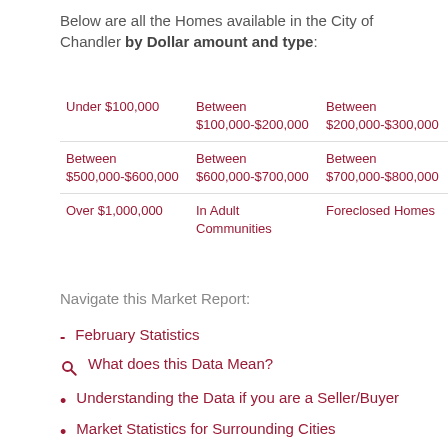Below are all the Homes available in the City of Chandler by Dollar amount and type:
| Under $100,000 | Between $100,000-$200,000 | Between $200,000-$300,000 |
| Between $500,000-$600,000 | Between $600,000-$700,000 | Between $700,000-$800,000 |
| Over $1,000,000 | In Adult Communities | Foreclosed Homes |
Navigate this Market Report:
February Statistics
What does this Data Mean?
Understanding the Data if you are a Seller/Buyer
Market Statistics for Surrounding Cities